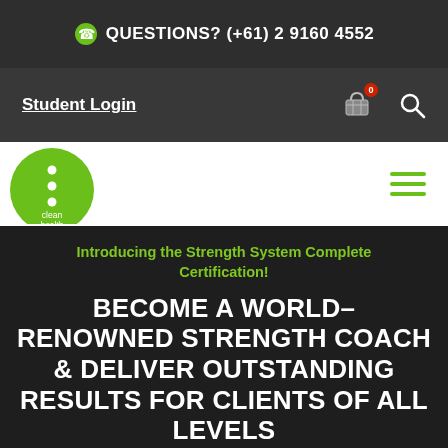QUESTIONS? (+61) 2 9160 4552
Student Login
[Figure (logo): Clean Health logo — green circle with white dots and text 'clean health']
Introducing the Strength System Complete Certification!
BECOME A WORLD-RENOWNED STRENGTH COACH & DELIVER OUTSTANDING RESULTS FOR CLIENTS OF ALL LEVELS
Improve your coaching techniques, scale your fitness business and become an expert in all things strength with the Strength System...